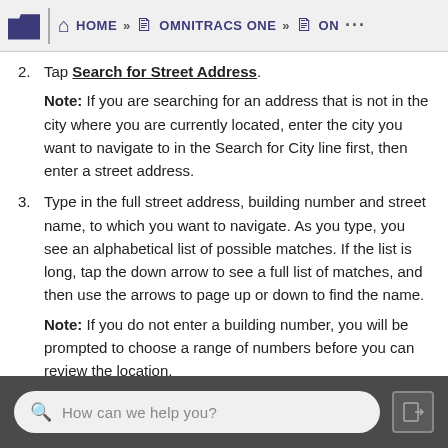HOME » OMNITRACS ONE » ON ...
2. Tap Search for Street Address.  Note: If you are searching for an address that is not in the city where you are currently located, enter the city you want to navigate to in the Search for City line first, then enter a street address.
3. Type in the full street address, building number and street name, to which you want to navigate. As you type, you see an alphabetical list of possible matches. If the list is long, tap the down arrow to see a full list of matches, and then use the arrows to page up or down to find the name.  Note: If you do not enter a building number, you will be prompted to choose a range of numbers before you can review the location.
4. Tap the Street Address that is your destination.